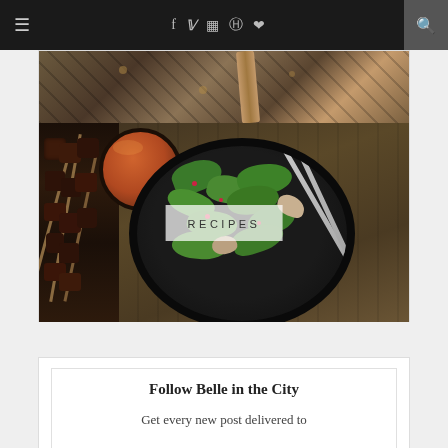≡  f  𝕏  📷  ⊕  ♥    🔍
[Figure (photo): Partially visible photo of a Louis Vuitton bag with monogram pattern]
[Figure (photo): Food photo showing a black bowl with green salad (spinach, pomegranate seeds, mushrooms), grilled meat skewers on the left, and a bowl of orange sauce on the right, with 'RECIPES' text overlay]
Follow Belle in the City
Get every new post delivered to